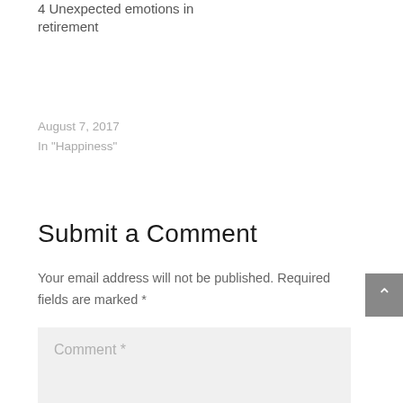4 Unexpected emotions in retirement
August 7, 2017
In "Happiness"
Submit a Comment
Your email address will not be published. Required fields are marked *
Comment *